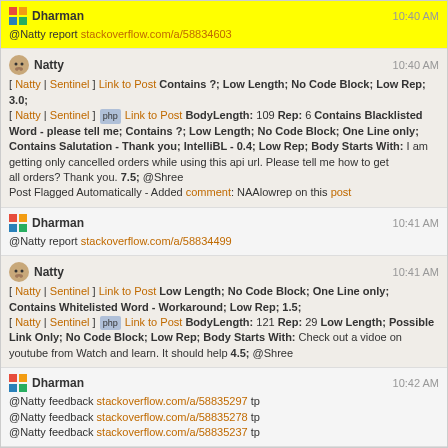Dharman 10:40 AM — @Natty report stackoverflow.com/a/58834603
Natty 10:40 AM — [ Natty | Sentinel ] Link to Post Contains ?; Low Length; No Code Block; Low Rep; 3.0; [ Natty | Sentinel ] php Link to Post BodyLength: 109 Rep: 6 Contains Blacklisted Word - please tell me; Contains ?; Low Length; No Code Block; One Line only; Contains Salutation - Thank you; IntelliBL - 0.4; Low Rep; Body Starts With: I am getting only cancelled orders while using this api url. Please tell me how to get all orders? Thank you. 7.5; @Shree Post Flagged Automatically - Added comment: NAAlowrep on this post
Dharman 10:41 AM — @Natty report stackoverflow.com/a/58834499
Natty 10:41 AM — [ Natty | Sentinel ] Link to Post Low Length; No Code Block; One Line only; Contains Whitelisted Word - Workaround; Low Rep; 1.5; [ Natty | Sentinel ] php Link to Post BodyLength: 121 Rep: 29 Low Length; Possible Link Only; No Code Block; Low Rep; Body Starts With: Check out a vidoe on youtube from Watch and learn. It should help 4.5; @Shree
Dharman 10:42 AM — @Natty feedback stackoverflow.com/a/58835297 tp @Natty feedback stackoverflow.com/a/58835278 tp @Natty feedback stackoverflow.com/a/58835237 tp